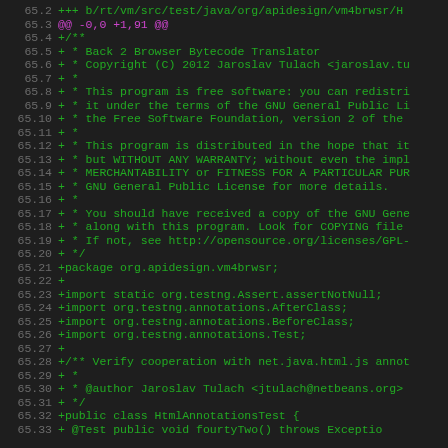Source code diff showing addition of HtmlAnnotationsTest.java file with license header, package declaration, imports, and class definition beginning.